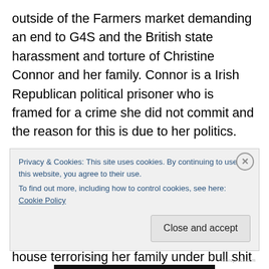outside of the Farmers market demanding an end to G4S and the British state harassment and torture of Christine Connor and her family. Connor is a Irish Republican political prisoner who is framed for a crime she did not commit and the reason for this is due to her politics.
Connor was recently granted bail and once this happened G4S a private company that specialises in torturing political prisoners in Ireland Palestine and South Africa have repeatedly invaded her house terrorising her family under bull shit reasons that their technology on the ankle
Privacy & Cookies: This site uses cookies. By continuing to use this website, you agree to their use.
To find out more, including how to control cookies, see here: Cookie Policy
Close and accept